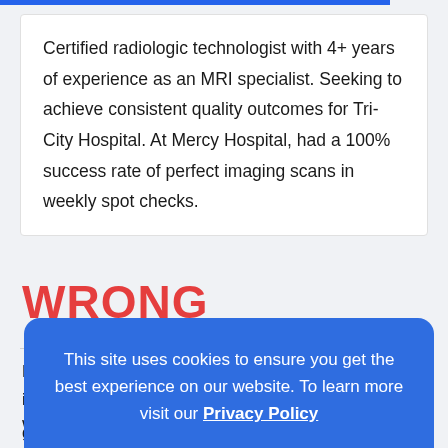Certified radiologic technologist with 4+ years of experience as an MRI specialist. Seeking to achieve consistent quality outcomes for Tri-City Hospital. At Mercy Hospital, had a 100% success rate of perfect imaging scans in weekly spot checks.
WRONG
R... i... W... e... good problem solver.
This site uses cookies to ensure you get the best experience on our website. To learn more visit our Privacy Policy GOT IT!